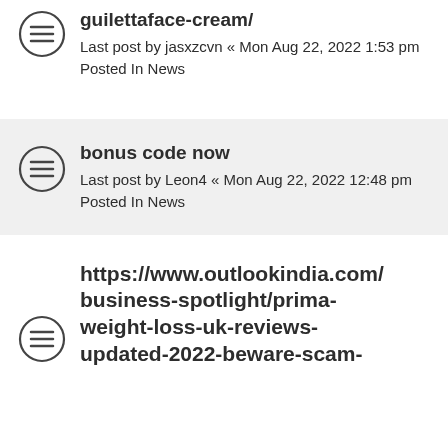guilettaface-cream/ Last post by jasxzcvn « Mon Aug 22, 2022 1:53 pm Posted In News
bonus code now Last post by Leon4 « Mon Aug 22, 2022 12:48 pm Posted In News
https://www.outlookindia.com/business-spotlight/prima-weight-loss-uk-reviews-updated-2022-beware-scam-